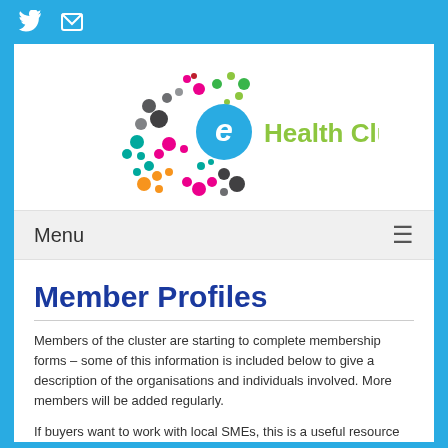[Twitter icon] [Mail icon]
[Figure (logo): eHealth Cluster logo with colourful dots arranged in a network pattern and the text 'e Health Cluster' where 'e' is in a blue circle and 'Health Cluster' is in green]
Menu
Member Profiles
Members of the cluster are starting to complete membership forms – some of this information is included below to give a description of the organisations and individuals involved. More members will be added regularly.
If buyers want to work with local SMEs, this is a useful resource